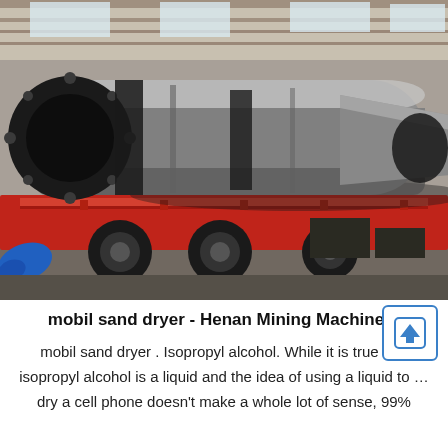[Figure (photo): A large industrial rotary drum dryer (sand dryer) loaded on a flatbed truck/trailer inside a factory warehouse. The cylinder is silver/metallic with black flanged rings. A blue object is visible at the lower left. The truck is red.]
mobil sand dryer - Henan Mining Machinery
mobil sand dryer . Isopropyl alcohol. While it is true that isopropyl alcohol is a liquid and the idea of using a liquid to …dry a cell phone doesn't make a whole lot of sense, 99%